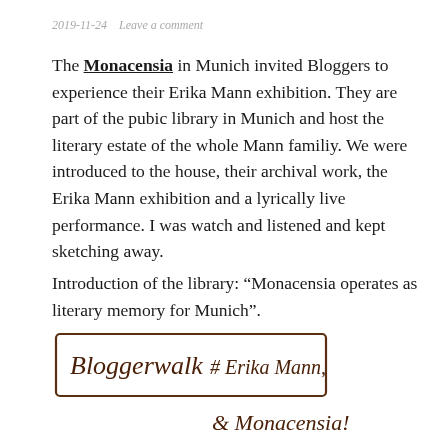2019-11-24   Leave a comment
The Monacensia in Munich invited Bloggers to experience their Erika Mann exhibition. They are part of the pubic library in Munich and host the literary estate of the whole Mann familiy. We were introduced to the house, their archival work, the Erika Mann exhibition and a lyrically live performance. I was watch and listened and kept sketching away.
Introduction of the library: “Monacensia operates as literary memory for Munich”.
[Figure (illustration): Handwritten sketch in brown ink showing a box with cursive text reading 'Bloggerwalk # Erika Mann' inside a hand-drawn rectangle border, and below it cursive text reading '& Monacensia!']